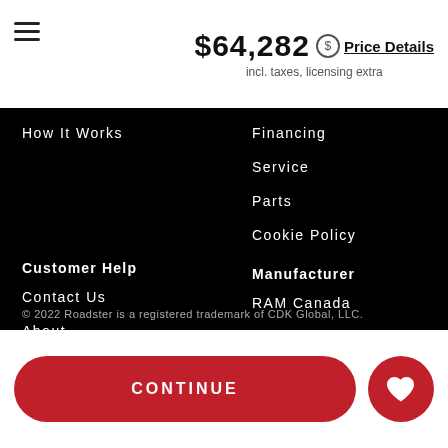$64,282 Price Details incl. taxes, licensing extra
How It Works
Financing
Service
Parts
Cookie Policy
Customer Help
Contact Us
About
Manufacturer
RAM Canada
Chrysler Canada
Dodge Canada
Jeep Canada
© 2022 Roadster is a registered trademark of CDK Global, LLC.
CONTINUE